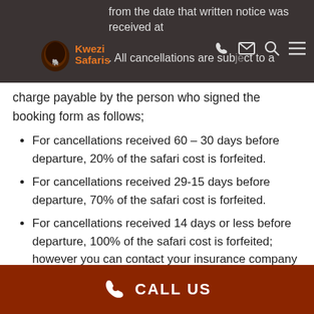from the date that written notice was received at [logo: Kwezi Safaris]. All cancellations are subject to a charge payable by the person who signed the booking form as follows;
For cancellations received 60 – 30 days before departure, 20% of the safari cost is forfeited.
For cancellations received 29-15 days before departure, 70% of the safari cost is forfeited.
For cancellations received 14 days or less before departure, 100% of the safari cost is forfeited; however you can contact your insurance company for the refund.
CALL US